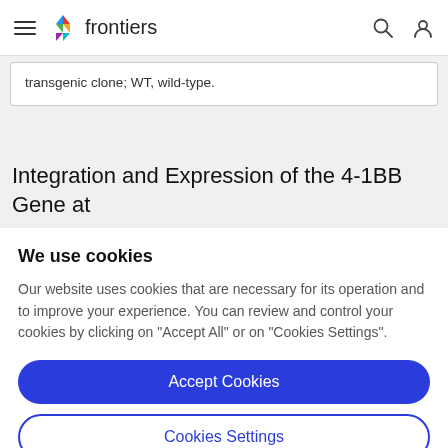frontiers
transgenic clone; WT, wild-type.
Integration and Expression of the 4-1BB Gene at
We use cookies
Our website uses cookies that are necessary for its operation and to improve your experience. You can review and control your cookies by clicking on "Accept All" or on "Cookies Settings".
Accept Cookies
Cookies Settings